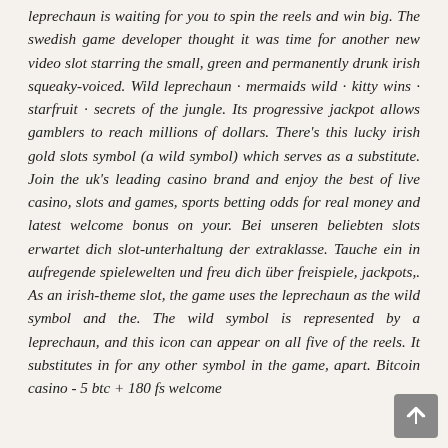leprechaun is waiting for you to spin the reels and win big. The swedish game developer thought it was time for another new video slot starring the small, green and permanently drunk irish squeaky-voiced. Wild leprechaun · mermaids wild · kitty wins · starfruit · secrets of the jungle. Its progressive jackpot allows gamblers to reach millions of dollars. There's this lucky irish gold slots symbol (a wild symbol) which serves as a substitute. Join the uk's leading casino brand and enjoy the best of live casino, slots and games, sports betting odds for real money and latest welcome bonus on your. Bei unseren beliebten slots erwartet dich slot-unterhaltung der extraklasse. Tauche ein in aufregende spielewelten und freu dich über freispiele, jackpots,. As an irish-theme slot, the game uses the leprechaun as the wild symbol and the. The wild symbol is represented by a leprechaun, and this icon can appear on all five of the reels. It substitutes in for any other symbol in the game, apart. Bitcoin casino - 5 btc + 180 fs welcome